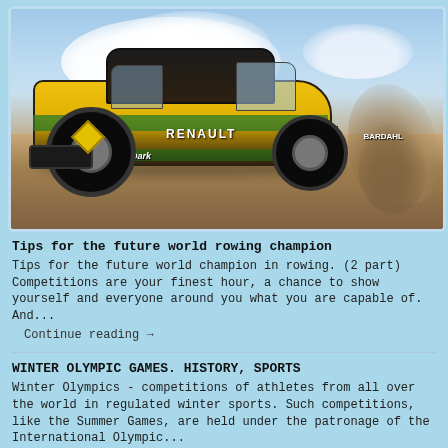[Figure (photo): Rally car (Renault Duster #317, yellow/green livery with sponsorship logos) racing through sandy desert terrain, kicking up a large dust cloud on the right, with dramatic cloudy sky in the background.]
Tips for the future world rowing champion
Tips for the future world champion in rowing. (2 part) Competitions are your finest hour, a chance to show yourself and everyone around you what you are capable of. And...
Continue reading →
WINTER OLYMPIC GAMES. HISTORY, SPORTS
Winter Olympics - competitions of athletes from all over the world in regulated winter sports. Such competitions, like the Summer Games, are held under the patronage of the International Olympic...